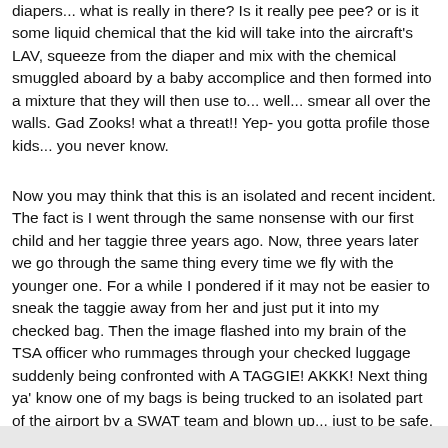diapers... what is really in there? Is it really pee pee? or is it some liquid chemical that the kid will take into the aircraft's LAV, squeeze from the diaper and mix with the chemical smuggled aboard by a baby accomplice and then formed into a mixture that they will then use to... well... smear all over the walls. Gad Zooks! what a threat!! Yep- you gotta profile those kids... you never know.
Now you may think that this is an isolated and recent incident. The fact is I went through the same nonsense with our first child and her taggie three years ago. Now, three years later we go through the same thing every time we fly with the younger one. For a while I pondered if it may not be easier to sneak the taggie away from her and just put it into my checked bag. Then the image flashed into my brain of the TSA officer who rummages through your checked luggage suddenly being confronted with A TAGGIE! AKKK! Next thing ya' know one of my bags is being trucked to an isolated part of the airport by a SWAT team and blown up... just to be safe.